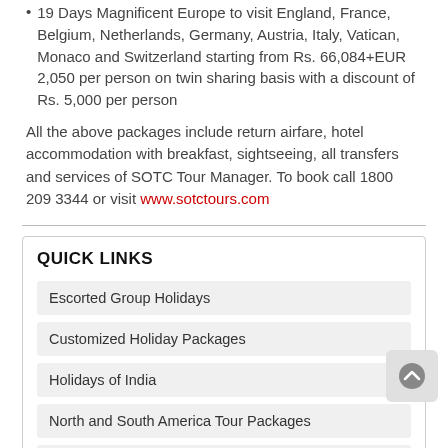19 Days Magnificent Europe to visit England, France, Belgium, Netherlands, Germany, Austria, Italy, Vatican, Monaco and Switzerland starting from Rs. 66,084+EUR 2,050 per person on twin sharing basis with a discount of Rs. 5,000 per person
All the above packages include return airfare, hotel accommodation with breakfast, sightseeing, all transfers and services of SOTC Tour Manager. To book call 1800 209 3344 or visit www.sotctours.com
QUICK LINKS
Escorted Group Holidays
Customized Holiday Packages
Holidays of India
North and South America Tour Packages
USA Tour Packages